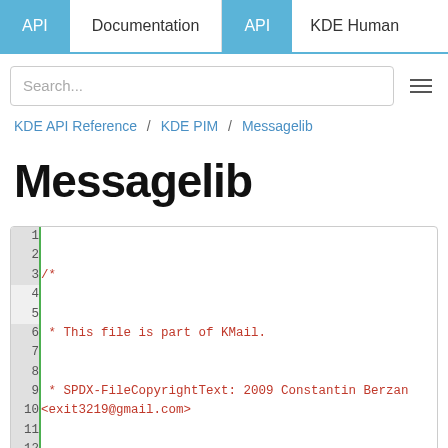API | Documentation | API | KDE Human
Search...
KDE API Reference / KDE PIM / Messagelib
Messagelib
[Figure (screenshot): Code block showing a C++ header file with line numbers 1-16. Lines 1-3 show a comment block: /* * This file is part of KMail. * SPDX-FileCopyrightText: 2009 Constantin Berzan <exit3219@gmail.com>. Lines 4-5: * and * SPDX-License-Identifier: GPL-2.0-or-later. Line 6: */. Lines 7-8: blank and #pragma once. Lines 9-10: blank and #include "messagecomposer_export.h". Lines 11-12: blank and #include <QAbstractItemModel>. Lines 13-14: blank and #include <QUrl>. Lines 15-16: blank and #include <Akonadi/Item>]